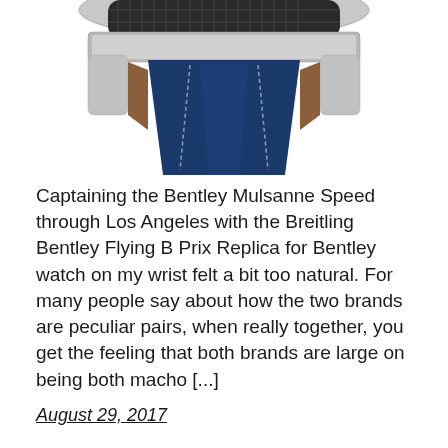[Figure (photo): Close-up photo of a watch with a navy blue leather strap and silver/metallic case with a carbon fiber or grid-patterned dial, partially cropped at the top of the page.]
Captaining the Bentley Mulsanne Speed through Los Angeles with the Breitling Bentley Flying B Prix Replica for Bentley watch on my wrist felt a bit too natural. For many people say about how the two brands are peculiar pairs, when really together, you get the feeling that both brands are large on being both macho [...]
August 29, 2017